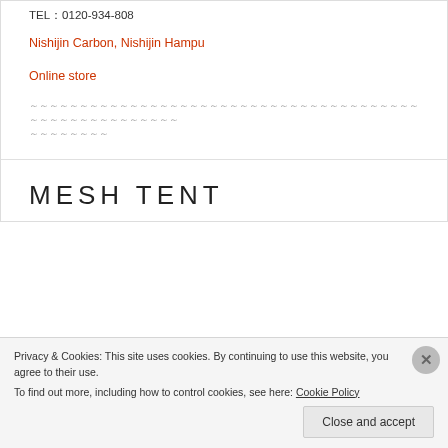TEL：0120-934-808
Nishijin Carbon, Nishijin Hampu
Online store
～～～～～～～～～～～～～～～～～～～～～～～～～～～～～～～～～～～～～～～～～～～～～～～～～～～～～～ ～～～～～～～～
MESH TENT
Privacy & Cookies: This site uses cookies. By continuing to use this website, you agree to their use.
To find out more, including how to control cookies, see here: Cookie Policy
Close and accept